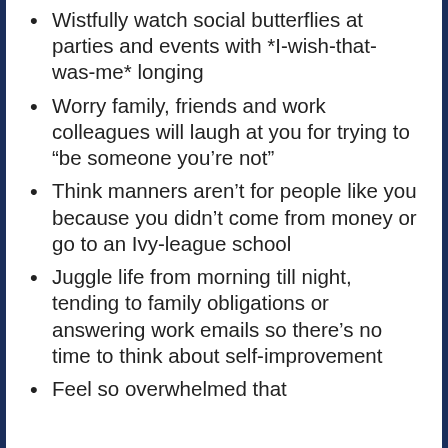Wistfully watch social butterflies at parties and events with *I-wish-that-was-me* longing
Worry family, friends and work colleagues will laugh at you for trying to “be someone you’re not”
Think manners aren’t for people like you because you didn’t come from money or go to an Ivy-league school
Juggle life from morning till night, tending to family obligations or answering work emails so there’s no time to think about self-improvement
Feel so overwhelmed that